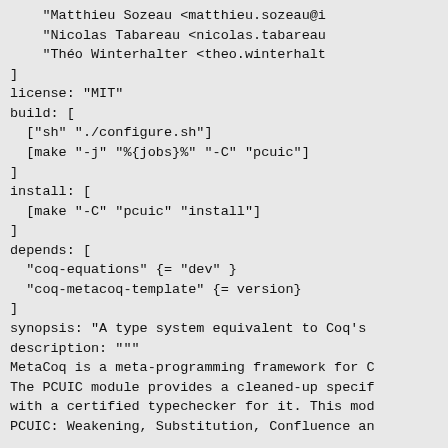"Matthieu Sozeau <matthieu.sozeau@i
    "Nicolas Tabareau <nicolas.tabareau
    "Théo Winterhalter <theo.winterhalt
]
license: "MIT"
build: [
  ["sh" "./configure.sh"]
  [make "-j" "%{jobs}%" "-C" "pcuic"]
]
install: [
  [make "-C" "pcuic" "install"]
]
depends: [
  "coq-equations" {= "dev" }
  "coq-metacoq-template" {= version}
]
synopsis: "A type system equivalent to Coq's
description: """
MetaCoq is a meta-programming framework for C
The PCUIC module provides a cleaned-up specif
with a certified typechecker for it. This mod
PCUIC: Weakening, Substitution, Confluence an